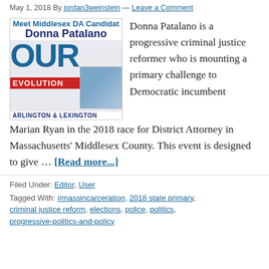May 1, 2018 By jordan3weinstein — Leave a Comment
[Figure (illustration): Event flyer for Our Revolution Arlington & Lexington: Meet Middlesex DA Candidate Donna Patalano, featuring the Our Revolution logo and a photo of the candidate.]
Donna Patalano is a progressive criminal justice reformer who is mounting a primary challenge to Democratic incumbent Marian Ryan in the 2018 race for District Attorney in Massachusetts' Middlesex County. This event is designed to give … [Read more...]
Filed Under: Editor, User
Tagged With: #massincarceration, 2018 state primary, criminal justice reform, elections, police, politics, progressive-politics-and-policy